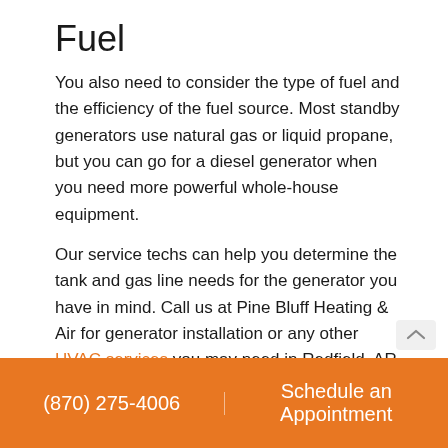Fuel
You also need to consider the type of fuel and the efficiency of the fuel source. Most standby generators use natural gas or liquid propane, but you can go for a diesel generator when you need more powerful whole-house equipment.
Our service techs can help you determine the tank and gas line needs for the generator you have in mind. Call us at Pine Bluff Heating & Air for generator installation or any other HVAC services you may need in Redfield, AR.
Image provided by iStock
(870) 275-4006   Schedule an Appointment